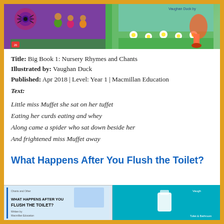[Figure (photo): Top banner with two children's book illustration panels: left panel shows purple background with spider and children illustration; right panel shows green meadow with flowers and cartoon character.]
Title: Big Book 1: Nursery Rhymes and Chants
Illustrated by: Vaughan Duck
Published: Apr 2018 | Level: Year 1 | Macmillan Education
Text:
Little miss Muffet she sat on her tuffet
Eating her curds eating and whey
Along came a spider who sat down beside her
And frightened miss Muffet away
What Happens After You Flush the Toilet?
[Figure (photo): Two book cover panels at the bottom: left shows the cover of 'What Happens After You Flush the Toilet?' with light blue background and text; right shows a teal/cyan illustrated cover panel.]